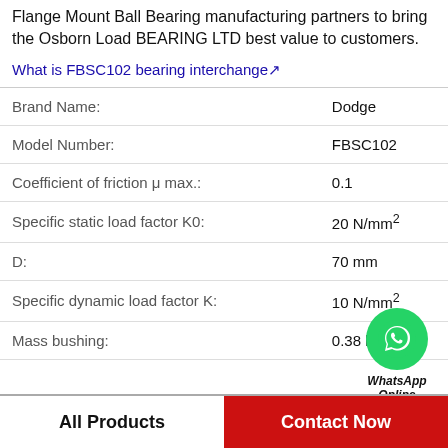Flange Mount Ball Bearing manufacturing partners to bring the Osborn Load BEARING LTD best value to customers.
What is FBSC102 bearing interchange↗
| Property | Value |
| --- | --- |
| Brand Name: | Dodge |
| Model Number: | FBSC102 |
| Coefficient of friction μ max.: | 0.1 |
| Specific static load factor K0: | 20 N/mm² |
| D: | 70 mm |
| Specific dynamic load factor K: | 10 N/mm² |
| Mass bushing: | 0.38 kg |
[Figure (logo): WhatsApp Online contact button with green circle phone icon]
All Products
Contact Now